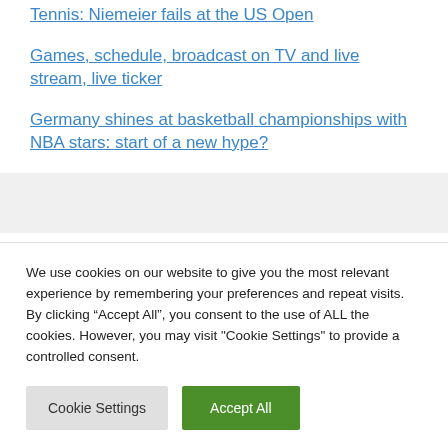Tennis: Niemeier fails at the US Open
Games, schedule, broadcast on TV and live stream, live ticker
Germany shines at basketball championships with NBA stars: start of a new hype?
Recent Comments
We use cookies on our website to give you the most relevant experience by remembering your preferences and repeat visits. By clicking “Accept All”, you consent to the use of ALL the cookies. However, you may visit "Cookie Settings" to provide a controlled consent.